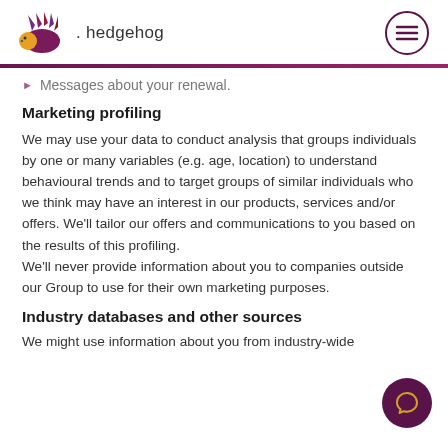hedgehog
Messages about your renewal.
Marketing profiling
We may use your data to conduct analysis that groups individuals by one or many variables (e.g. age, location) to understand behavioural trends and to target groups of similar individuals who we think may have an interest in our products, services and/or offers. We'll tailor our offers and communications to you based on the results of this profiling.
We'll never provide information about you to companies outside our Group to use for their own marketing purposes.
Industry databases and other sources
We might use information about you from industry-wide